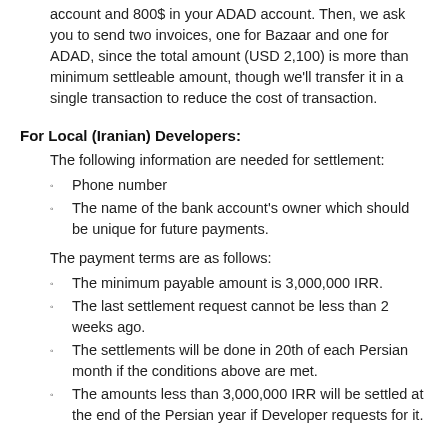account and 800$ in your ADAD account. Then, we ask you to send two invoices, one for Bazaar and one for ADAD, since the total amount (USD 2,100) is more than minimum settleable amount, though we'll transfer it in a single transaction to reduce the cost of transaction.
For Local (Iranian) Developers:
The following information are needed for settlement:
Phone number
The name of the bank account's owner which should be unique for future payments.
The payment terms are as follows:
The minimum payable amount is 3,000,000 IRR.
The last settlement request cannot be less than 2 weeks ago.
The settlements will be done in 20th of each Persian month if the conditions above are met.
The amounts less than 3,000,000 IRR will be settled at the end of the Persian year if Developer requests for it.